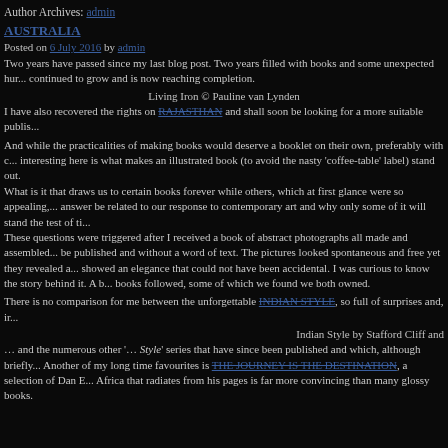Author Archives: admin
AUSTRALIA
Posted on 6 July 2016 by admin
Two years have passed since my last blog post. Two years filled with books and some unexpected hur... continued to grow and is now reaching completion.
Living Iron © Pauline van Lynden
I have also recovered the rights on RAJASTHAN and shall soon be looking for a more suitable publis...
And while the practicalities of making books would deserve a booklet on their own, preferably with c... interesting here is what makes an illustrated book (to avoid the nasty 'coffee-table' label) stand out. What is it that draws us to certain books forever while others, which at first glance were so appealing,... answer be related to our response to contemporary art and why only some of it will stand the test of ti... These questions were triggered after I received a book of abstract photographs all made and assembled... be published and without a word of text. The pictures looked spontaneous and free yet they revealed a... showed an elegance that could not have been accidental. I was curious to know the story behind it. A b... books followed, some of which we found we both owned.
There is no comparison for me between the unforgettable INDIAN STYLE, so full of surprises and, ir...
Indian Style by Stafford Cliff and
… and the numerous other '… Style' series that have since been published and which, although briefly... Another of my long time favourites is THE JOURNEY IS THE DESTINATION, a selection of Dan E... Africa that radiates from his pages is far more convincing than many glossy books.